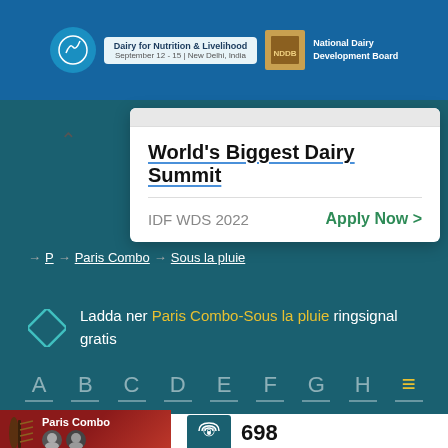[Figure (screenshot): Top banner for IDF World Dairy Summit 2022 – Dairy for Nutrition & Livelihood, September 12-15, New Delhi, India]
World's Biggest Dairy Summit
IDF WDS 2022   Apply Now >
→ P → Paris Combo → Sous la pluie
Ladda ner Paris Combo-Sous la pluie ringsignal gratis
A B C D E F G H ≡
[Figure (photo): Paris Combo album art / band photo with red background]
698